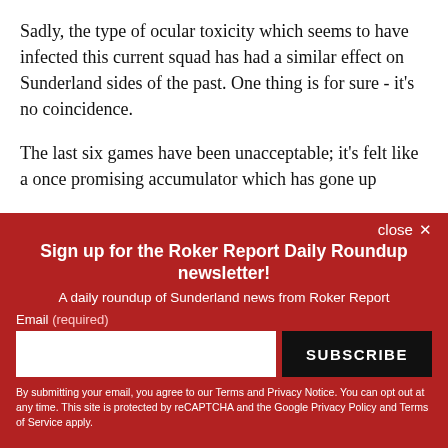Sadly, the type of ocular toxicity which seems to have infected this current squad has had a similar effect on Sunderland sides of the past. One thing is for sure - it's no coincidence.
The last six games have been unacceptable; it's felt like a once promising accumulator which has gone up
close ×
Sign up for the Roker Report Daily Roundup newsletter!
A daily roundup of Sunderland news from Roker Report
Email (required)
SUBSCRIBE
By submitting your email, you agree to our Terms and Privacy Notice. You can opt out at any time. This site is protected by reCAPTCHA and the Google Privacy Policy and Terms of Service apply.